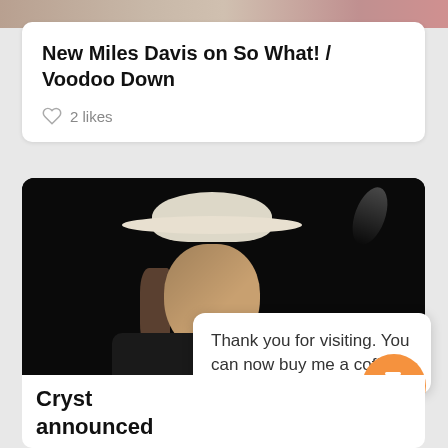[Figure (photo): Top image strip showing thumbnails at top of page]
New Miles Davis on So What! / Voodoo Down
2 likes
[Figure (photo): Photo of a man (Bob Dylan) wearing a white wide-brim hat, performing on stage with guitar, dark background]
Thank you for visiting. You can now buy me a coffee!
Cryst announced